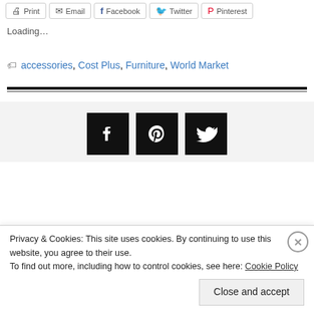Print  Email  Facebook  Twitter  Pinterest
Loading…
accessories, Cost Plus, Furniture, World Market
[Figure (other): Horizontal thick black divider line]
[Figure (other): Social media icon buttons: Facebook, Pinterest, Twitter in black square boxes]
Privacy & Cookies: This site uses cookies. By continuing to use this website, you agree to their use.
To find out more, including how to control cookies, see here: Cookie Policy
Close and accept